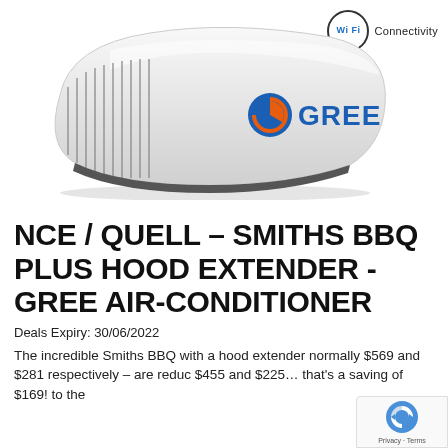[Figure (photo): GREE air conditioner rooftop unit (white, aerodynamic shape with vents on left side and GREE logo on right side) with WiFi Connectivity badge in top-right corner]
NCE / QUELL – SMITHS BBQ PLUS HOOD EXTENDER - GREE AIR-CONDITIONER
Deals Expiry: 30/06/2022
The incredible Smiths BBQ with a hood extender normally $569 and $281 respectively – are reduc $455 and $225… that's a saving of $169! to the